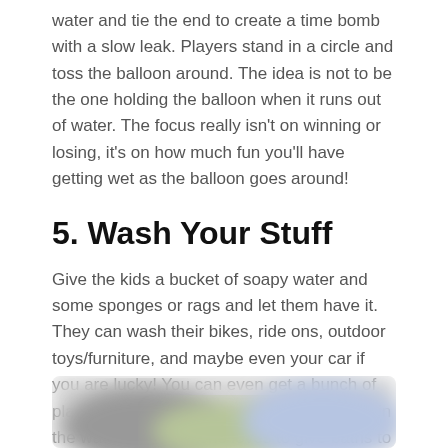water and tie the end to create a time bomb with a slow leak. Players stand in a circle and toss the balloon around. The idea is not to be the one holding the balloon when it runs out of water. The focus really isn't on winning or losing, it's on how much fun you'll have getting wet as the balloon goes around!
5. Wash Your Stuff
Give the kids a bucket of soapy water and some sponges or rags and let them have it. They can wash their bikes, ride ons, outdoor toys/furniture, and maybe even your car if you are lucky! You can even get a bunch of plastic dolls/figures for the kids to play with in the water. Our little one loves to give baths to her dolls and toys!
[Figure (photo): Blurred/obscured photograph at the bottom of the page, showing indistinct colorful shapes]